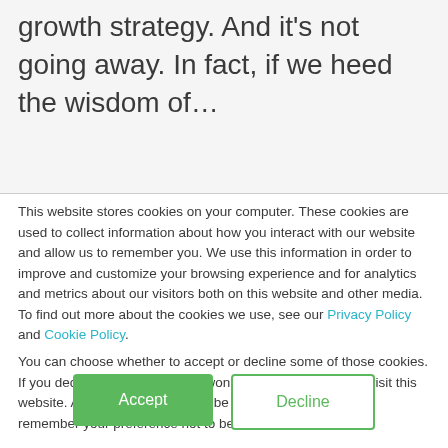growth strategy. And it's not going away. In fact, if we heed the wisdom of…
This website stores cookies on your computer. These cookies are used to collect information about how you interact with our website and allow us to remember you. We use this information in order to improve and customize your browsing experience and for analytics and metrics about our visitors both on this website and other media. To find out more about the cookies we use, see our Privacy Policy and Cookie Policy.
You can choose whether to accept or decline some of those cookies. If you decline, your information won't be tracked when you visit this website. And a single cookie will be used in your browser to remember your preference not to be tracked.
Accept | Decline